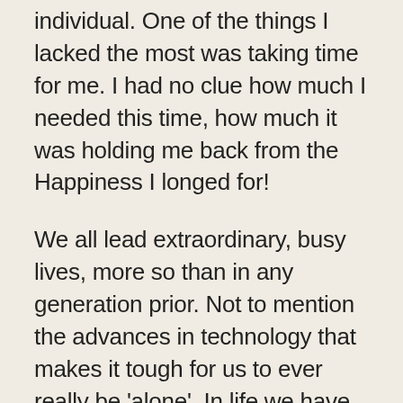individual. One of the things I lacked the most was taking time for me. I had no clue how much I needed this time, how much it was holding me back from the Happiness I longed for!
We all lead extraordinary, busy lives, more so than in any generation prior. Not to mention the advances in technology that makes it tough for us to ever really be 'alone'. In life we have so many roles~Spouse, Parent, Boyfriend/Girlfriend, employee, boss, friend and on and on. These roles we play come with a level of commitment as well as responsibilities. Looking back, I became engrossed in all the roles I played, and I put my own needs last & even felt guilty to do anything for myself.